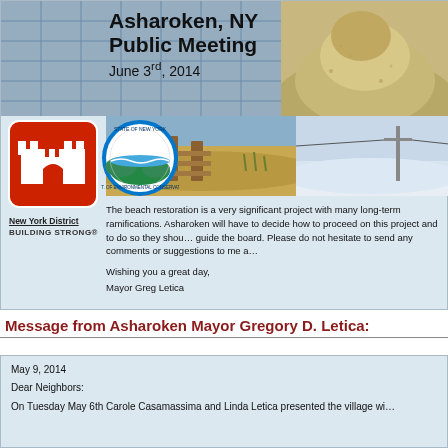Asharoken, NY Public Meeting June 3rd, 2014
[Figure (photo): Composite banner image with sand/gravel pile, beach stairs, winter scene, Army Corps of Engineers logo, and NY environmental agency logo]
The beach restoration is a very significant project with many long-term ramifications. Asharoken will have to decide how to proceed on this project and to do so they shou… guide the board. Please do not hesitate to send any comments or suggestions to me a…
Wishing you a great day,
Mayor Greg Letica
Message from Asharoken Mayor Gregory D. Letica:
May 9, 2014
Dear Neighbors:
On Tuesday May 6th Carole Casamassima and Linda Letica presented the village wi…